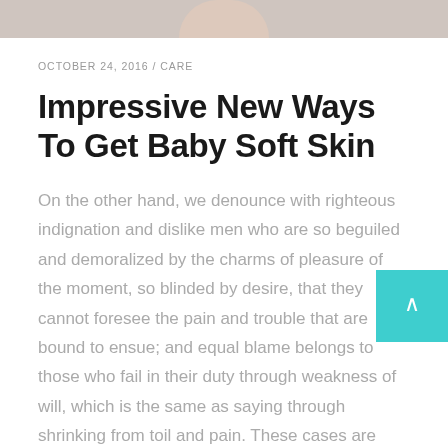[Figure (photo): Cropped photo showing lower portion of a face (chin area), light background]
OCTOBER 24, 2016 / CARE
Impressive New Ways To Get Baby Soft Skin
On the other hand, we denounce with righteous indignation and dislike men who are so beguiled and demoralized by the charms of pleasure of the moment, so blinded by desire, that they cannot foresee the pain and trouble that are bound to ensue; and equal blame belongs to those who fail in their duty through weakness of will, which is the same as saying through shrinking from toil and pain. These cases are perfectly simple and easy to